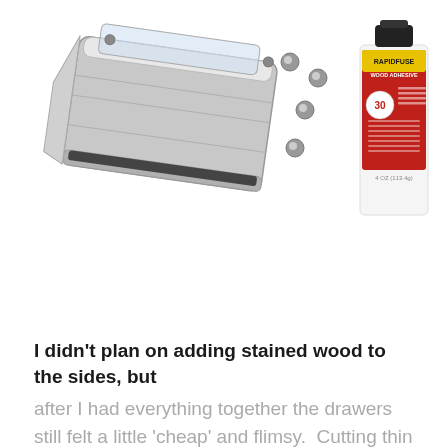[Figure (photo): Photo of a chrome/silver stapler-like tool (likely a jewelry or craft tool), several small metallic beads/rivets, and a bottle of RapidFuse Wood Adhesive on a white background.]
I didn't plan on adding stained wood to the sides, but after I had everything together the drawers still felt a little 'cheap' and flimsy. Cutting thin balsa wood to